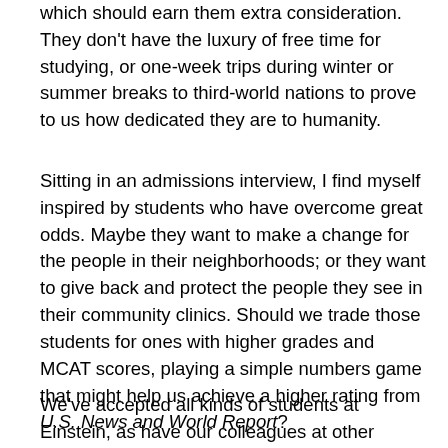which should earn them extra consideration. They don't have the luxury of free time for studying, or one-week trips during winter or summer breaks to third-world nations to prove to us how dedicated they are to humanity.
Sitting in an admissions interview, I find myself inspired by students who have overcome great odds. Maybe they want to make a change for the people in their neighborhoods; or they want to give back and protect the people they see in their community clinics. Should we trade those students for ones with higher grades and MCAT scores, playing a simple numbers game that might help us achieve a higher rating from U.S. News and World Report?
We've accepted all kinds of students at Einstein, as have our colleagues at other medical schools—people of color;